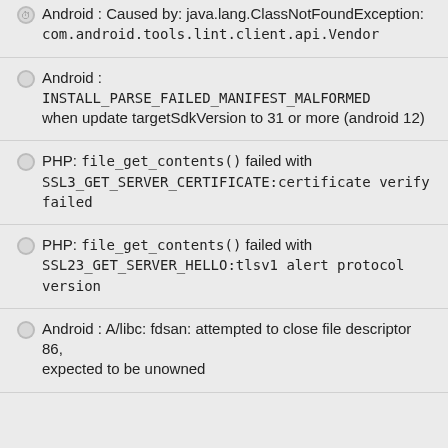Android : Caused by: java.lang.ClassNotFoundException: com.android.tools.lint.client.api.Vendor
Android : INSTALL_PARSE_FAILED_MANIFEST_MALFORMED when update targetSdkVersion to 31 or more (android 12)
PHP: file_get_contents() failed with SSL3_GET_SERVER_CERTIFICATE:certificate verify failed
PHP: file_get_contents() failed with SSL23_GET_SERVER_HELLO:tlsv1 alert protocol version
Android : A/libc: fdsan: attempted to close file descriptor 86, expected to be unowned